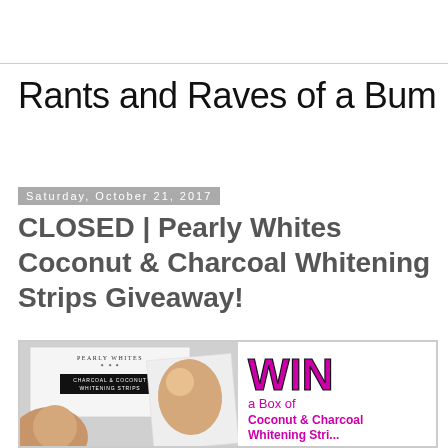Rants and Raves of a Bum
Saturday, October 21, 2017
CLOSED | Pearly Whites Coconut & Charcoal Whitening Strips Giveaway!
[Figure (photo): Promotional giveaway banner for Pearly Whites Coconut & Charcoal Whitening Strips. Left side shows product box and smiling women; right side shows WIN text and prize description in magenta/pink.]